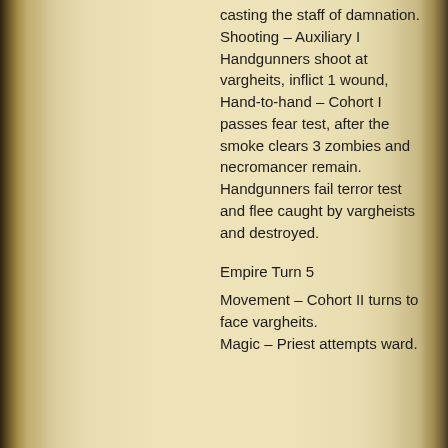casting the staff of damnation. Shooting – Auxiliary I Handgunners shoot at vargheits, inflict 1 wound, Hand-to-hand – Cohort I passes fear test, after the smoke clears 3 zombies and necromancer remain. Handgunners fail terror test and flee caught by vargheists and destroyed.
Empire Turn 5
Movement – Cohort II turns to face vargheits. Magic – Priest attempts ward.